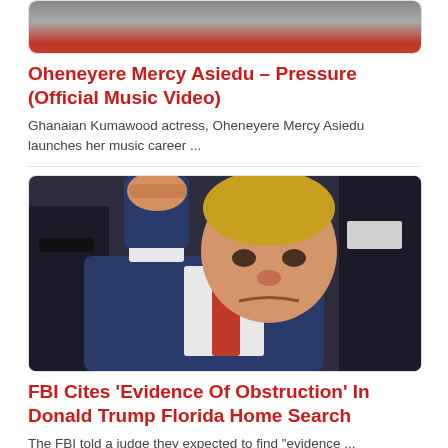[Figure (photo): Partial image of woman in red dress, bottom portion visible]
Oheneyere Mercy Asiedu – Pressure (Official Music Video)
Ghanaian Kumawood actress, Oheneyere Mercy Asiedu launches her music career ...
[Figure (photo): Donald Trump raising a fist in the air, wearing blue suit and red tie, with security agent nearby]
FBI Cites 'Evidence Of Obstruction' In Donald Trump Florida Home Search
The FBI told a judge they expected to find "evidence ...